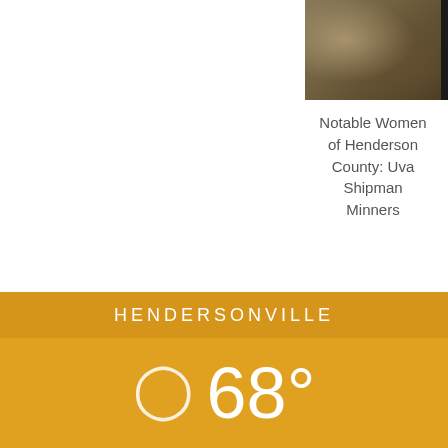[Figure (screenshot): Navigation menu bar (black background with white hamburger menu icon) in top right corner]
[Figure (photo): Article card showing an old book or historical document image with text: Notable Women of Henderson County: Uva Shipman Minners]
Notable Women of Henderson County: Uva Shipman Minners
SHARE THIS:
[Figure (infographic): Social share buttons: Twitter (blue), Facebook (blue), Pinterest (red), Reddit (light blue), Email (gray) as circular icons]
HENDERSONVILLE
68°